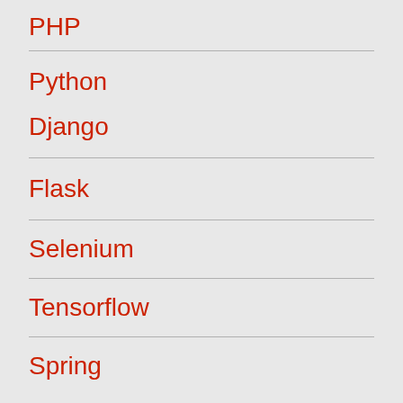PHP
Python
Django
Flask
Selenium
Tensorflow
Spring